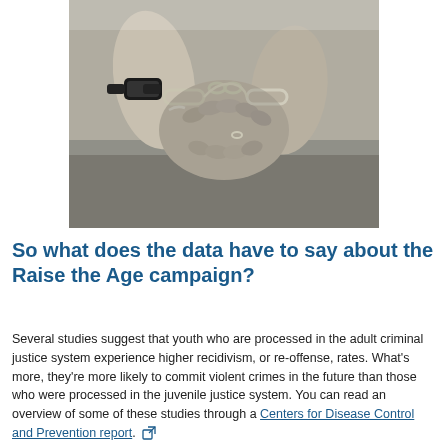[Figure (photo): Black and white close-up photograph of two people's hands handcuffed together at the wrists, viewed from behind]
So what does the data have to say about the Raise the Age campaign?
Several studies suggest that youth who are processed in the adult criminal justice system experience higher recidivism, or re-offense, rates. What's more, they're more likely to commit violent crimes in the future than those who were processed in the juvenile justice system. You can read an overview of some of these studies through a Centers for Disease Control and Prevention report.